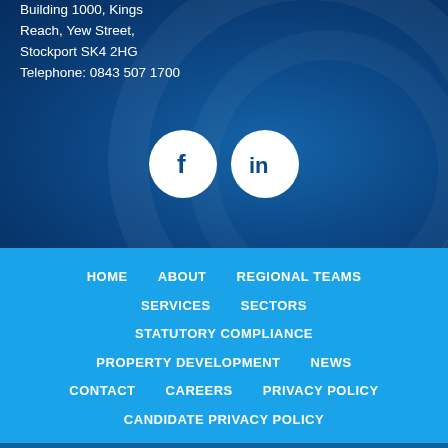Building 1000, Kings Reach, Yew Street, Stockport SK4 2HG
Telephone: 0843 507 1700
[Figure (illustration): Two circular social media icons: Facebook (f) and LinkedIn (in), white circles on dark blue background]
HOME
ABOUT
REGIONAL TEAMS
SERVICES
SECTORS
STATUTORY COMPLIANCE
PROPERTY DEVELOPMENT
NEWS
CONTACT
CAREERS
PRIVACY POLICY
CANDIDATE PRIVACY POLICY